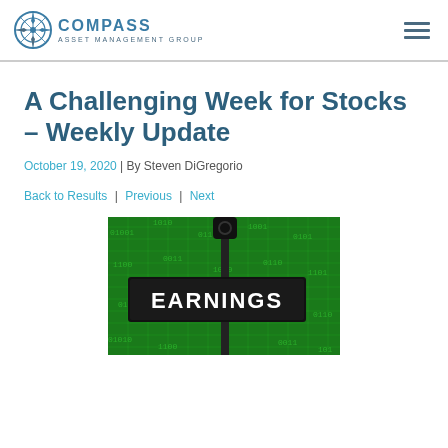COMPASS ASSET MANAGEMENT GROUP
A Challenging Week for Stocks – Weekly Update
October 19, 2020 | By Steven DiGregorio
Back to Results | Previous | Next
[Figure (photo): Street sign reading EARNINGS on a pole, against a green digital background]